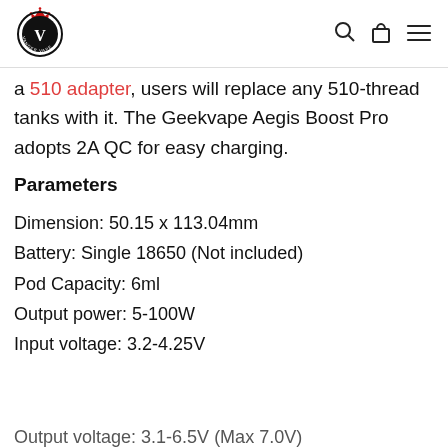[Figure (logo): Circular logo with letter V inside, crown on top, 'VANDER VAPE' text around the ring]
a 510 adapter, users will replace any 510-thread tanks with it. The Geekvape Aegis Boost Pro adopts 2A QC for easy charging.
Parameters
Dimension: 50.15 x 113.04mm
Battery: Single 18650 (Not included)
Pod Capacity: 6ml
Output power: 5-100W
Input voltage: 3.2-4.25V
Output voltage: 3.1-6.5V (Max 7.0V)